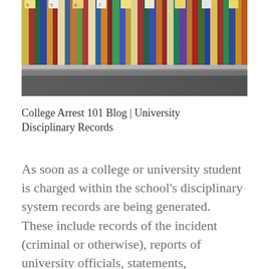[Figure (photo): Shelves of colorful filing folders or binders viewed from an angle, with numbered tabs visible.]
College Arrest 101 Blog | University Disciplinary Records
As soon as a college or university student is charged within the school's disciplinary system records are being generated. These include records of the incident (criminal or otherwise), reports of university officials, statements, complaints, charging